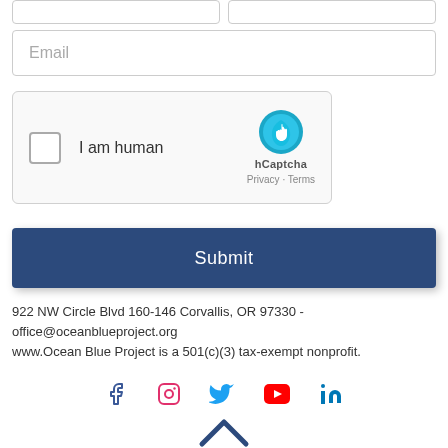[Figure (screenshot): Two partial input fields at top (form fields, cropped)]
[Figure (screenshot): Email input field with placeholder text 'Email']
[Figure (screenshot): hCaptcha widget with checkbox 'I am human' and hCaptcha logo]
[Figure (screenshot): Submit button, dark navy blue]
922 NW Circle Blvd 160-146 Corvallis, OR 97330 - office@oceanblueproject.org
www.Ocean Blue Project is a 501(c)(3) tax-exempt nonprofit.
[Figure (screenshot): Social media icons: Facebook, Instagram, Twitter, YouTube, LinkedIn]
[Figure (screenshot): Dark blue upward chevron/arrow at bottom center]